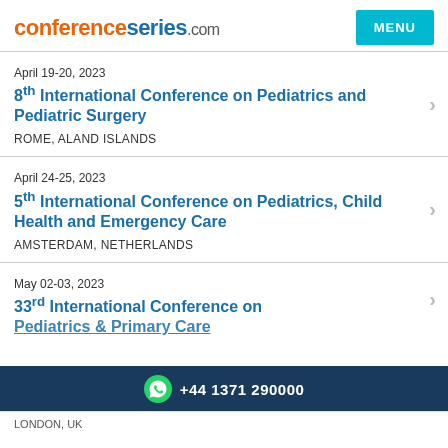conferenceseries.com
April 19-20, 2023
8th International Conference on Pediatrics and Pediatric Surgery
ROME, ALAND ISLANDS
April 24-25, 2023
5th International Conference on Pediatrics, Child Health and Emergency Care
AMSTERDAM, NETHERLANDS
May 02-03, 2023
33rd International Conference on Pediatrics & Primary Care
LONDON, UK
+44 1371 290000